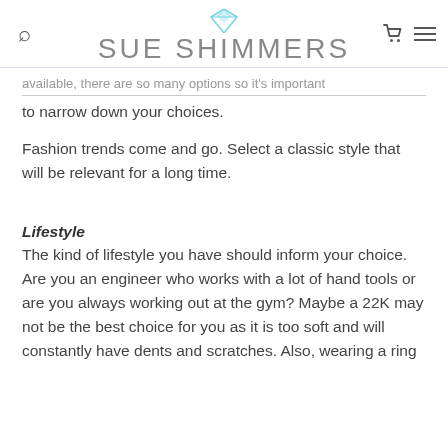Sue Shimmers — logo, search, cart, and menu icons
available, there are so many options so it's important to narrow down your choices.
Fashion trends come and go. Select a classic style that will be relevant for a long time.
Lifestyle
The kind of lifestyle you have should inform your choice. Are you an engineer who works with a lot of hand tools or are you always working out at the gym? Maybe a 22K may not be the best choice for you as it is too soft and will constantly have dents and scratches. Also, wearing a ring